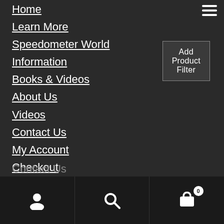Home
Learn More
Speedometer World
Information
Books & Videos
About Us
Videos
Contact Us
My Account
Checkout
Cart
Shop
Add Product Filter
Contact Us
User | Search | Cart (0)